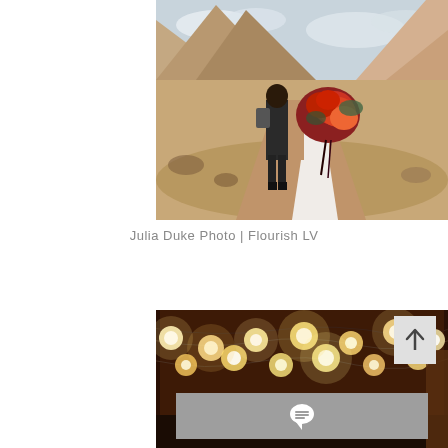[Figure (photo): Wedding couple walking in desert landscape. Groom in dark suit, bride in white lace dress holding large red and orange floral bouquet, rocky desert terrain and mountains in background.]
Julia Duke Photo | Flourish LV
[Figure (photo): Event venue interior with string lights hanging from ceiling, warm bokeh lighting effect, dark rustic barn-style setting.]